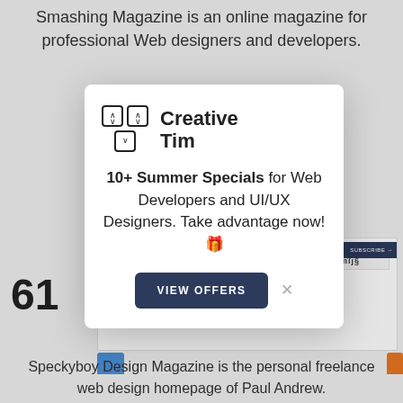Smashing Magazine is an online magazine for professional Web designers and developers.
[Figure (screenshot): Screenshot of a web page with a number '61' visible and partial UI elements including blue and orange bars]
[Figure (screenshot): Modal popup with Creative Tim logo, text '10+ Summer Specials for Web Developers and UI/UX Designers. Take advantage now!', and a VIEW OFFERS button]
Speckyboy Design Magazine is the personal freelance web design homepage of Paul Andrew.